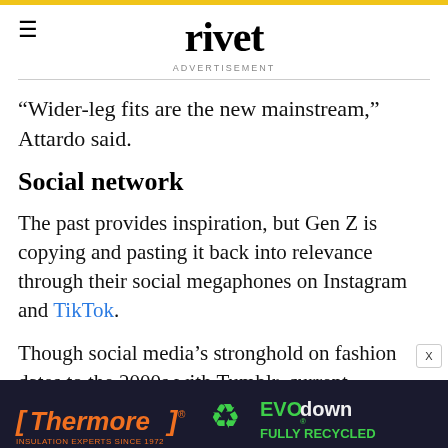rivet
ADVERTISEMENT
“Wider-leg fits are the new mainstream,” Attardo said.
Social network
The past provides inspiration, but Gen Z is copying and pasting it back into relevance through their social megaphones on Instagram and TikTok.
Though social media’s stronghold on fashion dates to the 2000s with Tumblr, current platforms gained greater importance to consumers and brands when
[Figure (infographic): Thermore EVO down advertisement banner - dark blue background with orange and green text. Shows Thermore logo (orange), recycling icon (green), EVO down logo (green), tagline INSULATION EXPERTS SINCE 1972 and FULLY RECYCLED.]